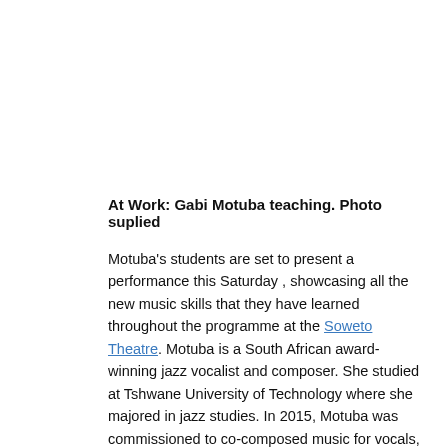At Work: Gabi Motuba teaching. Photo suplied
Motuba's students are set to present a performance this Saturday , showcasing all the new music skills that they have learned throughout the programme at the Soweto Theatre. Motuba is a South African award-winning jazz vocalist and composer. She studied at Tshwane University of Technology where she majored in jazz studies. In 2015, Motuba was commissioned to co-composed music for vocals, cello, piano and drums, during a Swiss Artist Residency program.
Those compositions became part of her debut duo album, Sanctum featuring Swiss pianist Malcolm Braff. In 2017, Motuba composed a 10 string quartet compositions. These compositions formed part of her debut solo album, Tefiti-Goddess of Creation. The Tahiti album was nominated for a 2019 South African Music Award for Best Alternative Album.